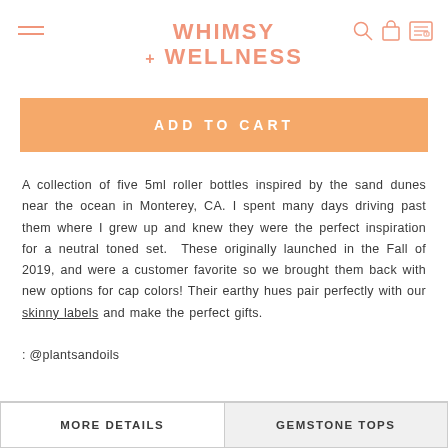Whimsy + Wellness
ADD TO CART
A collection of five 5ml roller bottles inspired by the sand dunes near the ocean in Monterey, CA. I spent many days driving past them where I grew up and knew they were the perfect inspiration for a neutral toned set.  These originally launched in the Fall of 2019, and were a customer favorite so we brought them back with new options for cap colors! Their earthy hues pair perfectly with our skinny labels and make the perfect gifts.
: @plantsandoils
MORE DETAILS
GEMSTONE TOPS